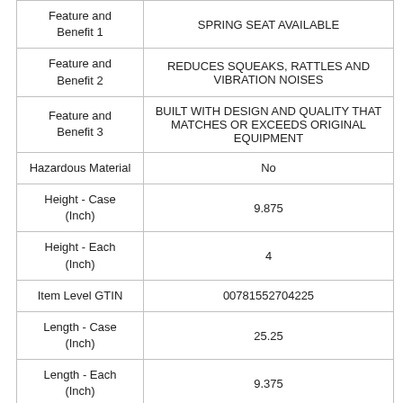| Attribute | Value |
| --- | --- |
| Feature and Benefit 1 | SPRING SEAT AVAILABLE |
| Feature and Benefit 2 | REDUCES SQUEAKS, RATTLES AND VIBRATION NOISES |
| Feature and Benefit 3 | BUILT WITH DESIGN AND QUALITY THAT MATCHES OR EXCEEDS ORIGINAL EQUIPMENT |
| Hazardous Material | No |
| Height - Case (Inch) | 9.875 |
| Height - Each (Inch) | 4 |
| Item Level GTIN | 00781552704225 |
| Length - Case (Inch) | 25.25 |
| Length - Each (Inch) | 9.375 |
| Life Cycle Status | Available to Order - Part is released to customers |